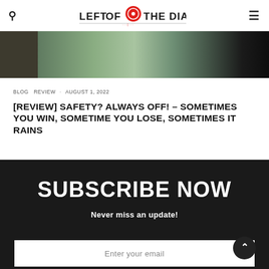LEFT OF THE DIAL
[Figure (photo): Dark greentone horizontal photo strip, partially visible, showing outdoor scene with tree branches and dark areas]
BLOG  REVIEW  ·  AUGUST 1, 2022
[REVIEW] SAFETY? ALWAYS OFF! – SOMETIMES YOU WIN, SOMETIME YOU LOSE, SOMETIMES IT RAINS
SUBSCRIBE NOW
Never miss an update!
Enter your email